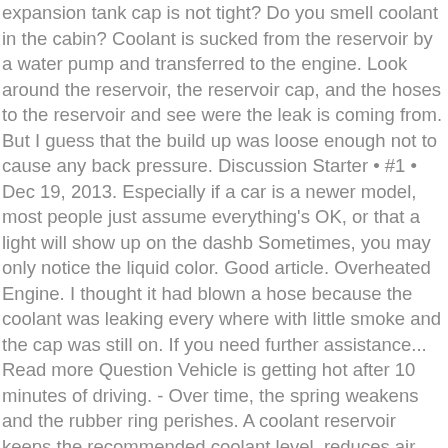expansion tank cap is not tight? Do you smell coolant in the cabin? Coolant is sucked from the reservoir by a water pump and transferred to the engine. Look around the reservoir, the reservoir cap, and the hoses to the reservoir and see were the leak is coming from. But I guess that the build up was loose enough not to cause any back pressure. Discussion Starter • #1 • Dec 19, 2013. Especially if a car is a newer model, most people just assume everything's OK, or that a light will show up on the dashb Sometimes, you may only notice the liquid color. Good article. Overheated Engine. I thought it had blown a hose because the coolant was leaking every where with little smoke and the cap was still on. If you need further assistance... Read more Question Vehicle is getting hot after 10 minutes of driving. - Over time, the spring weakens and the rubber ring perishes. A coolant reservoir keeps the recommended coolant level, reduces air bubbles in the system, prevents rust, and gives less you fewer reasons to open the radiator cap. This wouldn't happen with our other (20+ year old cars). Put new tank in and no more leak. Then I saw that